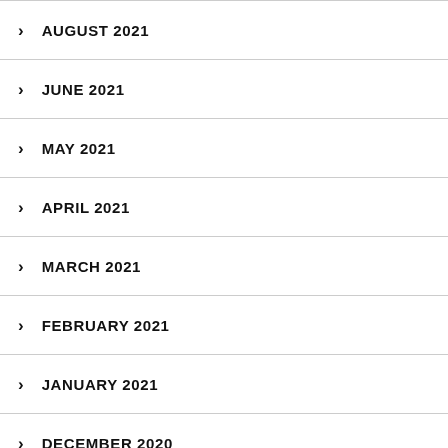AUGUST 2021
JUNE 2021
MAY 2021
APRIL 2021
MARCH 2021
FEBRUARY 2021
JANUARY 2021
DECEMBER 2020
NOVEMBER 2020
OCTOBER 2020